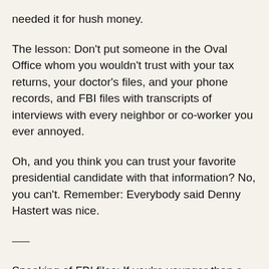needed it for hush money.
The lesson: Don't put someone in the Oval Office whom you wouldn't trust with your tax returns, your doctor's files, and your phone records, and FBI files with transcripts of interviews with every neighbor or co-worker you ever annoyed.
Oh, and you think you can trust your favorite presidential candidate with that information? No, you can't. Remember: Everybody said Denny Hastert was nice.
—–
Speaking of FBI files: If you're younger than a certain age, you might not remember Hillary's White House FBI Files scandal. Her sidekick Craig Livingstone was director of